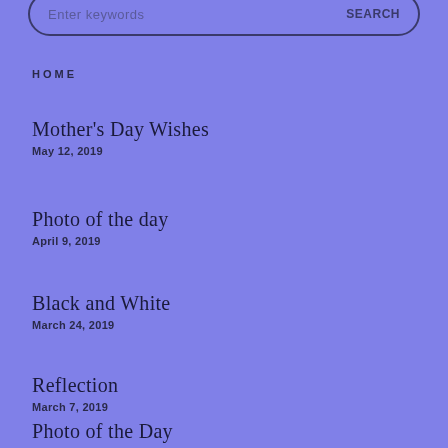[Figure (screenshot): Search bar input field with placeholder 'Enter keywords' and a search button on the right]
HOME
Mother's Day Wishes
May 12, 2019
Photo of the day
April 9, 2019
Black and White
March 24, 2019
Reflection
March 7, 2019
Photo of the Day